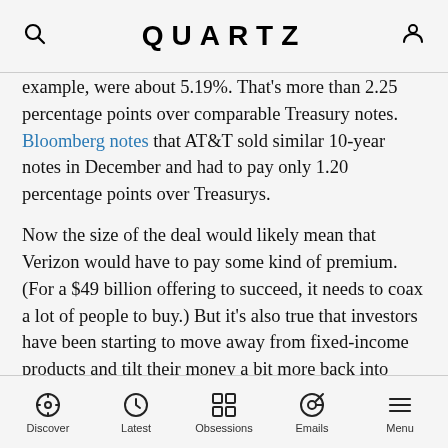QUARTZ
example, were about 5.19%. That's more than 2.25 percentage points over comparable Treasury notes. Bloomberg notes that AT&T sold similar 10-year notes in December and had to pay only 1.20 percentage points over Treasurys.
Now the size of the deal would likely mean that Verizon would have to pay some kind of premium. (For a $49 billion offering to succeed, it needs to coax a lot of people to buy.) But it's also true that investors have been starting to move away from fixed-income products and tilt their money a bit more back into stocks. Such dynamics should, by rights, translate into higher borrowing costs for corporates. Here's a look at US mutual fund flows from the Investment Company
Discover  Latest  Obsessions  Emails  Menu